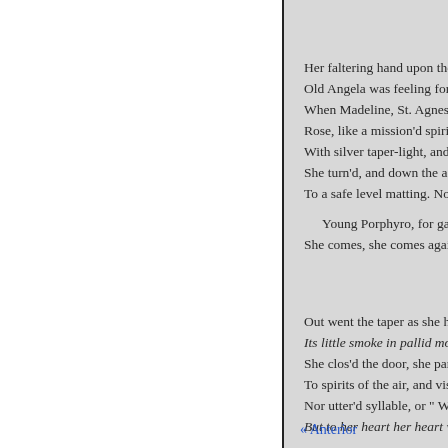Her faltering hand upon the
Old Angela was feeling for
When Madeline, St. Agnes'
Rose, like a mission'd spirit
With silver taper-light, and
She turn'd, and down the ag
To a safe level matting. Nov

  Young Porphyro, for gazin
She comes, she comes again
Out went the taper as she hu
Its little smoke in pallid moo
She clos'd the door, she pan
To spirits of the air, and visi
Nor utter'd syllable, or " Wo
But to her heart her heart w
« Anterior